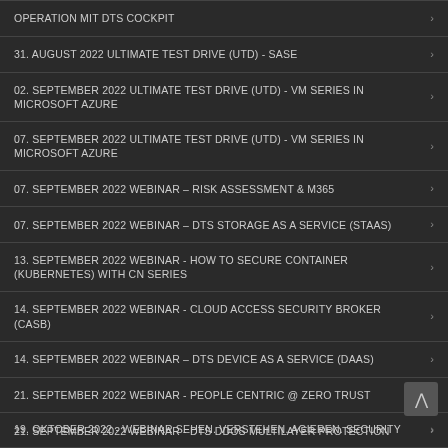OPERATION MIT DTS COCKPIT
31. AUGUST 2022 ULTIMATE TEST DRIVE (UTD) - SASE
02. SEPTEMBER 2022 ULTIMATE TEST DRIVE (UTD) - VM SERIES IN MICROSOFT AZURE
07. SEPTEMBER 2022 ULTIMATE TEST DRIVE (UTD) - VM SERIES IN MICROSOFT AZURE
07. SEPTEMBER 2022 WEBINAR – RISK ASSESSMENT & M365
07. SEPTEMBER 2022 WEBINAR – DTS STORAGE AS A SERVICE (STAAS)
13. SEPTEMBER 2022 WEBINAR - HOW TO SECURE CONTAINER (KUBERNETES) WITH CN SERIES
14. SEPTEMBER 2022 WEBINAR - CLOUD ACCESS SECURITY BROKER (CASB)
14. SEPTEMBER 2022 WEBINAR – DTS DEVICE AS A SERVICE (DAAS)
21. SEPTEMBER 2022 WEBINAR - PEOPLE CENTRIC @ ZERO TRUST
21. SEPTEMBER 2022 WEBINAR - DTS DDOS MULTILAYER PROTECTION
27. SEPTEMBER 2022 - WEBINAR SEHEN. VERSTEHEN. AGIEREN. SECURITY OPERATION MIT DTS COCKPIT
19. OKTOBER 2022 - WEBINAR SEHEN. VERSTEHEN. AGIEREN. SECURITY